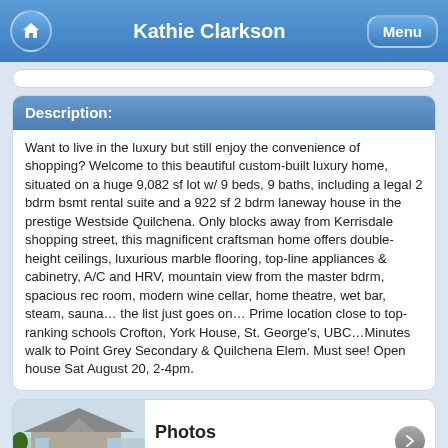Kathie Clarkson
Description:
Want to live in the luxury but still enjoy the convenience of shopping? Welcome to this beautiful custom-built luxury home, situated on a huge 9,082 sf lot w/ 9 beds, 9 baths, including a legal 2 bdrm bsmt rental suite and a 922 sf 2 bdrm laneway house in the prestige Westside Quilchena. Only blocks away from Kerrisdale shopping street, this magnificent craftsman home offers double-height ceilings, luxurious marble flooring, top-line appliances & cabinetry, A/C and HRV, mountain view from the master bdrm, spacious rec room, modern wine cellar, home theatre, wet bar, steam, sauna… the list just goes on… Prime location close to top-ranking schools Crofton, York House, St. George's, UBC…Minutes walk to Point Grey Secondary & Quilchena Elem. Must see! Open house Sat August 20, 2-4pm.
[Figure (photo): Exterior photo of a craftsman-style house with grey siding and a gated front entrance, surrounded by greenery.]
Photos
View 33 more photos